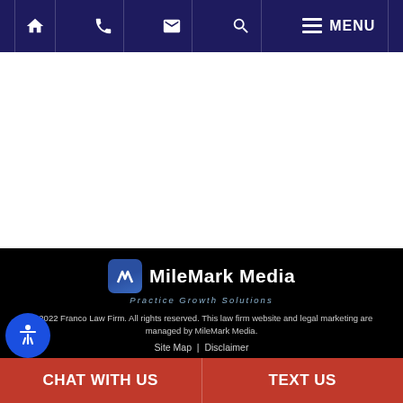Home | Phone | Email | Search | MENU
[Figure (screenshot): White content area, blank]
[Figure (logo): MileMark Media - Practice Growth Solutions logo]
© 2022 Franco Law Firm. All rights reserved. This law firm website and legal marketing are managed by MileMark Media.
Site Map | Disclaimer
CHAT WITH US | TEXT US